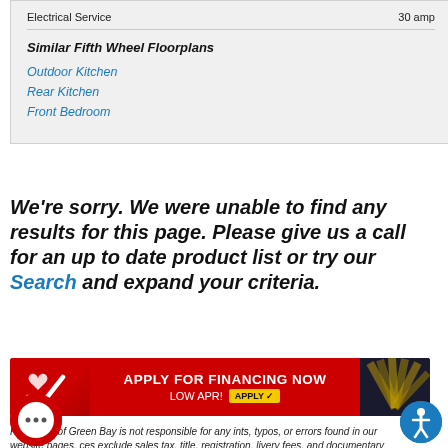| Electrical Service | 30 amp |
| --- | --- |
Similar Fifth Wheel Floorplans
Outdoor Kitchen
Rear Kitchen
Front Bedroom
We're sorry. We were unable to find any results for this page. Please give us a call for an up to date product list or try our Search and expand your criteria.
[Figure (infographic): Red banner advertisement: APPLY FOR FINANCING NOW, LOW APR! with a heart-check logo on left and money fan image on right.]
Kunes RV of Green Bay is not responsible for any ints, typos, or errors found in our website pages. ces exclude sales tax, title, registration, livery fees, and documentary service fee, (service